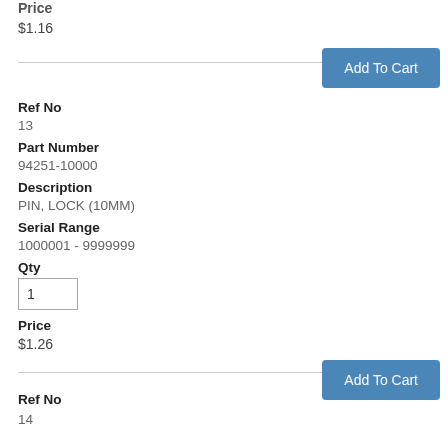Price
$1.16
Add To Cart
Ref No
13
Part Number
94251-10000
Description
PIN, LOCK (10MM)
Serial Range
1000001 - 9999999
Qty
Price
$1.26
Add To Cart
Ref No
14